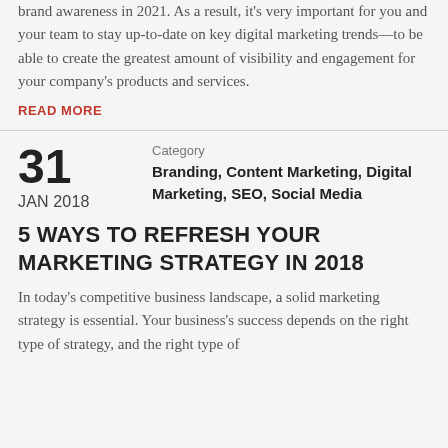brand awareness in 2021. As a result, it's very important for you and your team to stay up-to-date on key digital marketing trends—to be able to create the greatest amount of visibility and engagement for your company's products and services.
READ MORE
31
JAN 2018
Category
Branding, Content Marketing, Digital Marketing, SEO, Social Media
5 WAYS TO REFRESH YOUR MARKETING STRATEGY IN 2018
In today's competitive business landscape, a solid marketing strategy is essential. Your business's success depends on the right type of strategy, and the right type of